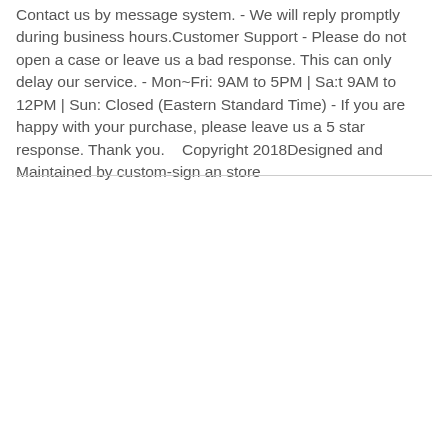Contact us by message system. - We will reply promptly during business hours.Customer Support - Please do not open a case or leave us a bad response. This can only delay our service. - Mon~Fri: 9AM to 5PM | Sa:t 9AM to 12PM | Sun: Closed (Eastern Standard Time) - If you are happy with your purchase, please leave us a 5 star response. Thank you.    Copyright 2018Designed and Maintained by custom-sign an store